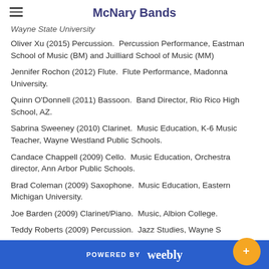McNary Bands
Wayne State University
Oliver Xu (2015) Percussion.  Percussion Performance, Eastman School of Music (BM) and Juilliard School of Music (MM)
Jennifer Rochon (2012) Flute.  Flute Performance, Madonna University.
Quinn O'Donnell (2011) Bassoon.  Band Director, Rio Rico High School, AZ.
Sabrina Sweeney (2010) Clarinet.  Music Education, K-6 Music Teacher, Wayne Westland Public Schools.
Candace Chappell (2009) Cello.  Music Education, Orchestra director, Ann Arbor Public Schools.
Brad Coleman (2009) Saxophone.  Music Education, Eastern Michigan University.
Joe Barden (2009) Clarinet/Piano.  Music, Albion College.
Teddy Roberts (2009) Percussion.  Jazz Studies, Wayne S[tate University]
POWERED BY weebly